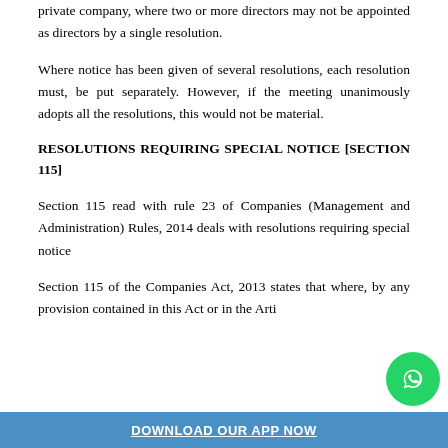private company, where two or more directors may not be appointed as directors by a single resolution.
Where notice has been given of several resolutions, each resolution must, be put separately. However, if the meeting unanimously adopts all the resolutions, this would not be material.
RESOLUTIONS REQUIRING SPECIAL NOTICE [SECTION 115]
Section 115 read with rule 23 of Companies (Management and Administration) Rules, 2014 deals with resolutions requiring special notice
Section 115 of the Companies Act, 2013 states that where, by any provision contained in this Act or in the Arti…
DOWNLOAD OUR APP NOW